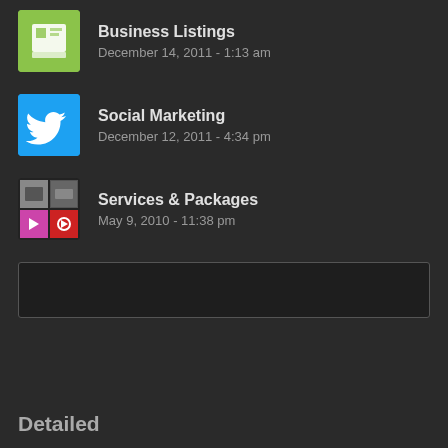Business Listings
December 14, 2011 - 1:13 am
Social Marketing
December 12, 2011 - 4:34 pm
Services & Packages
May 9, 2010 - 11:38 pm
[Figure (other): Empty dark input/search box with border]
Detailed
Extras
January 25, 2015 - 6:11 pm